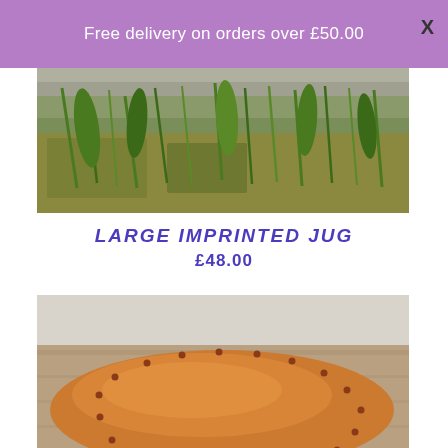Free delivery on orders over £50.00
[Figure (photo): Top portion of a large imprinted ceramic jug, showing a pond/water scene with green grass/reeds in the background, photographed outdoors]
LARGE IMPRINTED JUG
£48.00
[Figure (photo): Close-up top-down view of a large orange/terracotta ceramic jug or bowl, showing the curved rim with small impressed dot decorations around the edge, on a wooden surface]